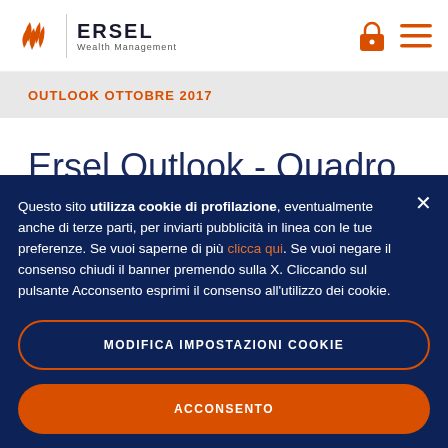ERSEL Wealth Management
OUTLOOK OTTOBRE 2017
Ersel Outlook - Quadro
Questo sito utilizza cookie di profilazione, eventualmente anche di terze parti, per inviarti pubblicità in linea con le tue preferenze. Se vuoi saperne di più clicca qui. Se vuoi negare il consenso chiudi il banner premendo sulla X. Cliccando sul pulsante Acconsento esprimi il consenso all'utilizzo dei cookie.
MODIFICA IMPOSTAZIONI COOKIE
ACCONSENTO